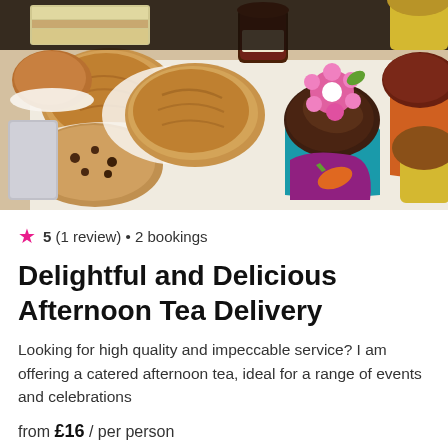[Figure (photo): Overhead photo of assorted afternoon tea items including scones, cupcakes with chocolate frosting and pink flower decoration, chocolate cupcakes in colorful baking cups, and other baked goods arranged on a white surface]
★ 5 (1 review) • 2 bookings
Delightful and Delicious Afternoon Tea Delivery
Looking for high quality and impeccable service? I am offering a catered afternoon tea, ideal for a range of events and celebrations
from £16 / per person